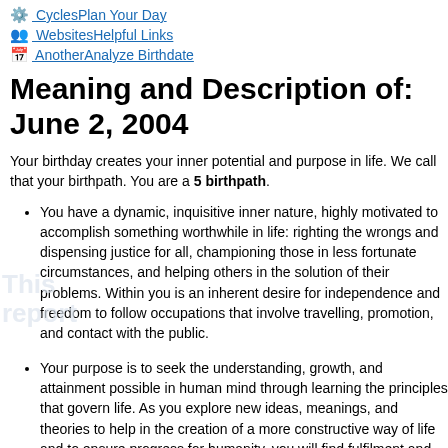CyclesPlan Your Day
WebsitesHelpful Links
AnotherAnalyze Birthdate
Meaning and Description of: June 2, 2004
Your birthday creates your inner potential and purpose in life. We call that your birthpath. You are a 5 birthpath.
You have a dynamic, inquisitive inner nature, highly motivated to accomplish something worthwhile in life: righting the wrongs and dispensing justice for all, championing those in less fortunate circumstances, and helping others in the solution of their problems. Within you is an inherent desire for independence and freedom to follow occupations that involve travelling, promotion, and contact with the public.
Your purpose is to seek the understanding, growth, and attainment possible in human mind through learning the principles that govern life. As you explore new ideas, meanings, and theories to help in the creation of a more constructive way of life and to ensure progress for humanity, you will find fulfilment and happiness in being of service to others. The courage of your convictions and convincing expression could act as a stimulus to others, lifting them to want a better way of life and to view life from more purposeful